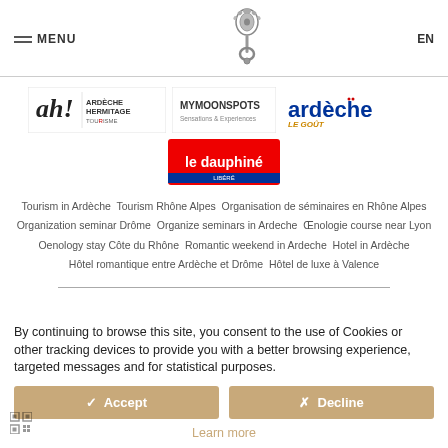MENU | [logo] | EN
[Figure (logo): Partner logos: ah! Ardèche Hermitage Tourisme, MyMoonSpots, ardèche le goût, le dauphiné libéré]
Tourism in Ardèche   Tourism Rhône Alpes   Organisation de séminaires en Rhône Alpes   Organization seminar Drôme   Organize seminars in Ardeche   Œnologie course near Lyon   Oenology stay Côte du Rhône   Romantic weekend in Ardeche   Hotel in Ardèche   Hôtel romantique entre Ardèche et Drôme   Hôtel de luxe à Valence
By continuing to browse this site, you consent to the use of Cookies or other tracking devices to provide you with a better browsing experience, targeted messages and for statistical purposes.
✓ Accept
✗ Decline
Learn more